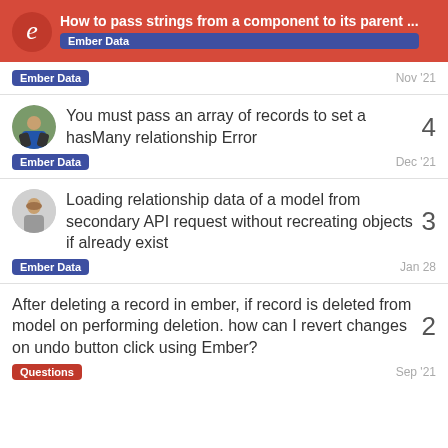How to pass strings from a component to its parent ... | Ember Data
Ember Data | Nov '21
You must pass an array of records to set a hasMany relationship Error | Ember Data | Dec '21 | 4
Loading relationship data of a model from secondary API request without recreating objects if already exist | Ember Data | Jan 28 | 3
After deleting a record in ember, if record is deleted from model on performing deletion. how can I revert changes on undo button click using Ember? | Questions | Sep '21 | 2